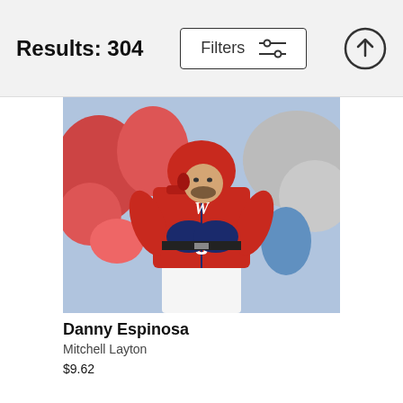Results: 304  Filters
[Figure (photo): Baseball player Danny Espinosa wearing Washington Nationals red jersey number 8, adjusting batting gloves, with crowd in background]
Danny Espinosa
Mitchell Layton
$9.62